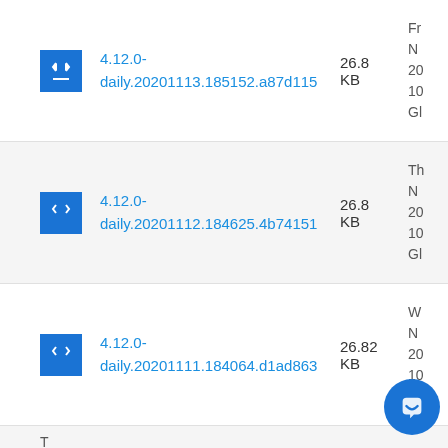4.12.0-daily.20201113.185152.a87d115 26.8 KB Fr N 20 10 Gl
4.12.0-daily.20201112.184625.4b74151 26.8 KB Th N 20 10 Gl
4.12.0-daily.20201111.184064.d1ad863 26.82 KB W N 20 10 Gl
T